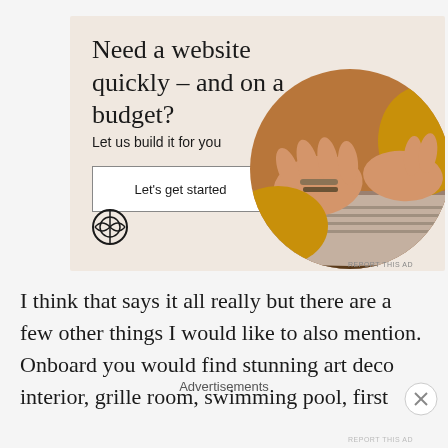[Figure (infographic): Advertisement banner with beige/cream background showing WordPress logo, headline 'Need a website quickly – and on a budget?', subtext 'Let us build it for you', a white CTA button 'Let's get started', and a circular photo of hands typing on a laptop.]
REPORT THIS AD
I think that says it all really but there are a few other things I would like to also mention. Onboard you would find stunning art deco interior, grille room, swimming pool, first
Advertisements
REPORT THIS AD